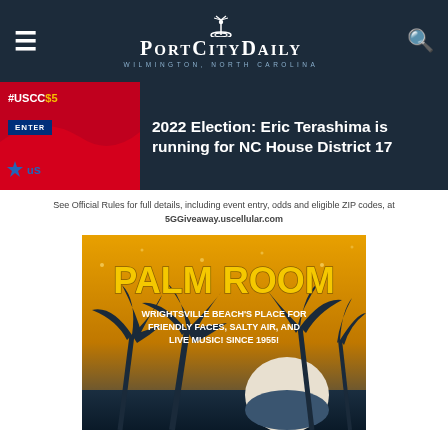PortCityDaily — Wilmington, North Carolina
[Figure (screenshot): Partial ad thumbnail showing #USCC text, red background, blue enter box, and US Cellular star logo]
2022 Election: Eric Terashima is running for NC House District 17
See Official Rules for full details, including event entry, odds and eligible ZIP codes, at 5GGiveaway.uscellular.com
[Figure (illustration): Palm Room advertisement — Wrightsville Beach's place for friendly faces, salty air, and live music! Since 1955! Yellow/orange sunset background with palm tree silhouettes.]